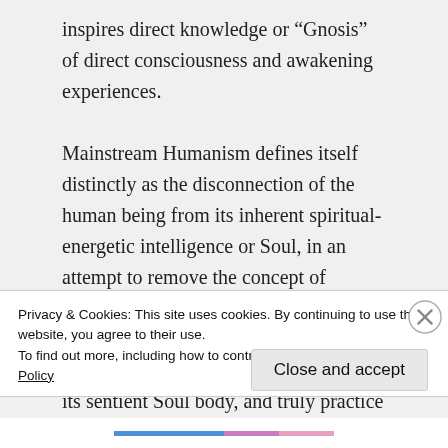inspires direct knowledge or “Gnosis” of direct consciousness and awakening experiences.

Mainstream Humanism defines itself distinctly as the disconnection of the human being from its inherent spiritual-energetic intelligence or Soul, in an attempt to remove the concept of Humanism away from the learned bias and practices of religion. It is impossible to separate humanity from its sentient Soul body, and truly practice an ethical
Privacy & Cookies: This site uses cookies. By continuing to use this website, you agree to their use.
To find out more, including how to control cookies, see here: Cookie Policy
Close and accept